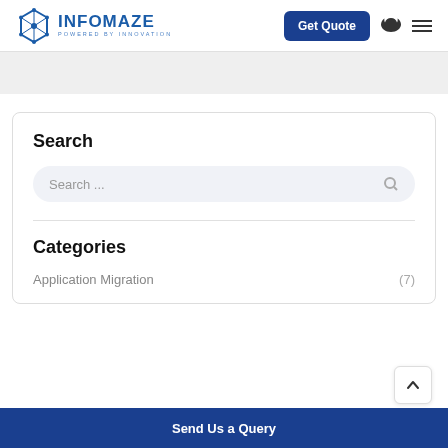[Figure (logo): Infomaze logo with hexagon icon and text 'INFOMAZE POWERED BY INNOVATION']
Get Quote
Search
Search ...
Categories
Application Migration (7)
Send Us a Query